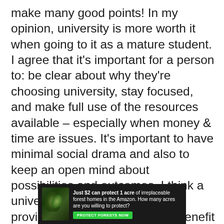make many good points! In my opinion, university is more worth it when going to it as a mature student. I agree that it's important for a person to: be clear about why they're choosing university, stay focused, and make full use of the resources available – especially when money & time are issues. It's important to have minimal social drama and also to keep an open mind about possibilities and outcomes. I think a university education & degree provide a solid foundation and benefit those who apply it appropriately.
[Figure (infographic): Advertisement banner with forest background image and text: 'Just $2 can protect 1 acre of irreplaceable forest homes in the Amazon. How many acres are you willing to protect?' with a green 'PROTECT FORESTS NOW' button.]